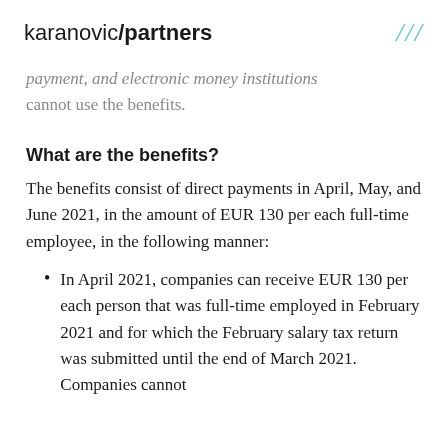karanovic/partners
payment, and electronic money institutions cannot use the benefits.
What are the benefits?
The benefits consist of direct payments in April, May, and June 2021, in the amount of EUR 130 per each full-time employee, in the following manner:
In April 2021, companies can receive EUR 130 per each person that was full-time employed in February 2021 and for which the February salary tax return was submitted until the end of March 2021. Companies cannot